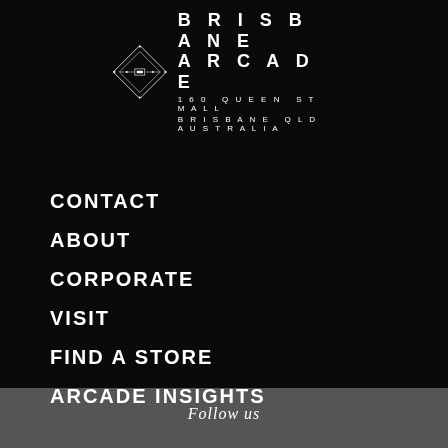[Figure (logo): Brisbane Arcade logo with diamond geometric shape and text: BRISBANE ARCADE, 160 QUEEN ST MALL, BRISBANE QLD AUSTRALIA]
CONTACT
ABOUT
CORPORATE
VISIT
FIND A STORE
ARCADE INSIGHTS
Follow us